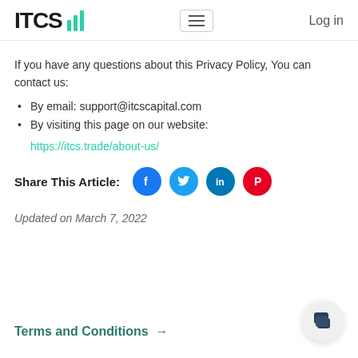ITCS | Log in
If you have any questions about this Privacy Policy, You can contact us:
By email: support@itcscapital.com
By visiting this page on our website: https://itcs.trade/about-us/
Share This Article:
Updated on March 7, 2022
Terms and Conditions →